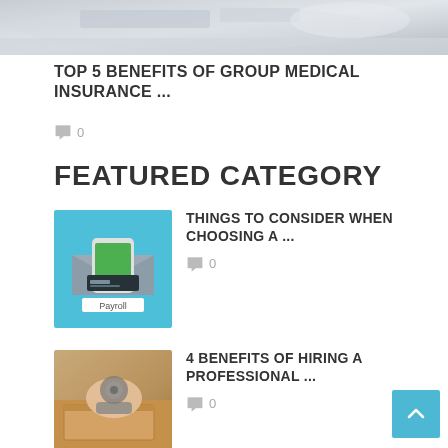[Figure (photo): Blurred background photo of office desk with laptop, top portion of article image]
TOP 5 BENEFITS OF GROUP MEDICAL INSURANCE ...
0
FEATURED CATEGORY
[Figure (illustration): Payroll illustration: envelope with smartphone and credit card, teal background, label Payroll]
THINGS TO CONSIDER WHEN CHOOSING A ...
0
[Figure (photo): Photo of hands using tape dispenser on cardboard boxes]
4 BENEFITS OF HIRING A PROFESSIONAL ...
0